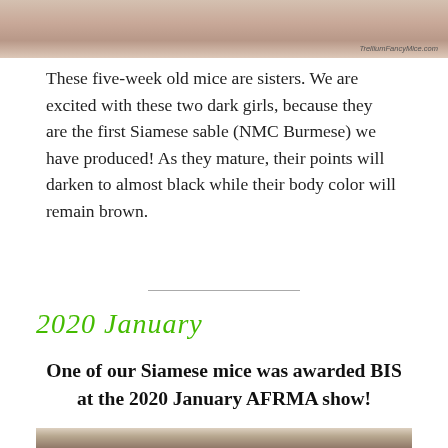[Figure (photo): Close-up photo of a hand holding small mice, top portion visible at page top. Watermark reads 'TrelliumFancyMice.com']
These five-week old mice are sisters. We are excited with these two dark girls, because they are the first Siamese sable (NMC Burmese) we have produced! As they mature, their points will darken to almost black while their body color will remain brown.
2020 January
One of our Siamese mice was awarded BIS at the 2020 January AFRMA show!
[Figure (photo): Photo of a Siamese mouse with award ribbons (gold, blue, and purple ribbons visible), partially cut off at bottom of page.]